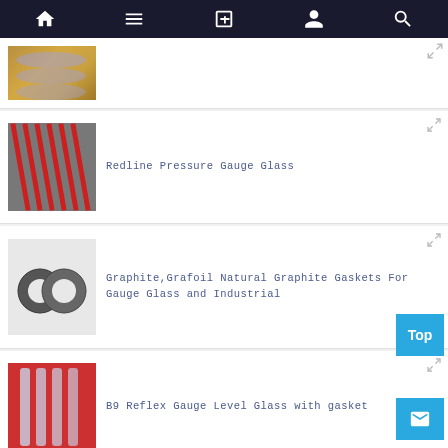[Figure (screenshot): Navigation bar with home, menu, notebook, person, and search icons on dark background]
[Figure (photo): Product image: glass tubes or vials arranged in rows, golden/amber tint]
[Figure (photo): Product image: Redline Pressure Gauge Glass - red striped glass tubes on grey background]
Redline Pressure Gauge Glass
[Figure (photo): Product image: Graphite gasket rings on white background]
Graphite,Grafoil Natural Graphite Gaskets For Gauge Glass and Industrial
[Figure (photo): Product image: B9 Reflex Gauge Level Glass with gasket - glass tubes on red background]
B9 Reflex Gauge Level Glass with gasket
[Figure (photo): Product image: 3/4'' BSPT Brass Super Transparent Oil Sight P... - partial, brass fitting on grey]
3/4'' BSPT Brass Super Transparent Oil Sight P